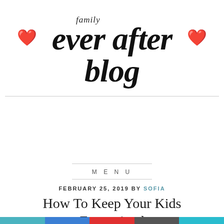[Figure (logo): Family Ever After Blog logo with red hearts on either side and cursive/script text reading 'family ever after blog']
MENU
FEBRUARY 25, 2019 BY SOFIA
How To Keep Your Kids Entertained At The Airport